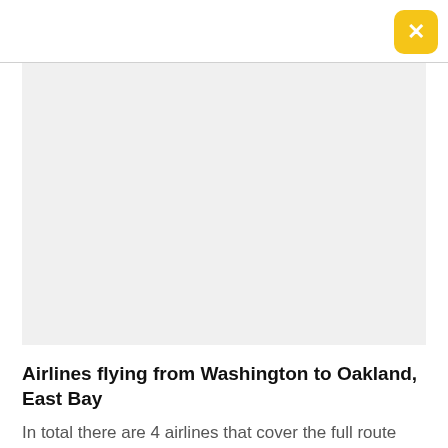[Figure (other): Close button with yellow/gold rounded square background and white X symbol in top right corner]
[Figure (other): Large light gray rectangular image placeholder area]
Airlines flying from Washington to Oakland, East Bay
In total there are 4 airlines that cover the full route from Washington DCA to Oakland, East Bay OAK. These airlines